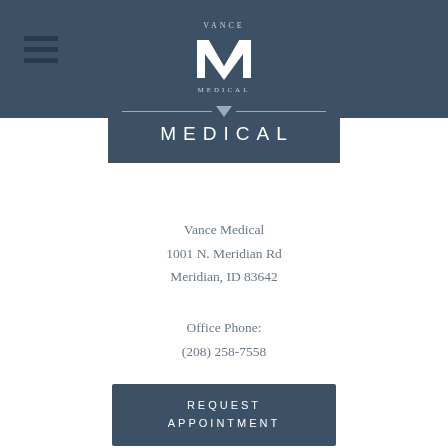[Figure (logo): Vance Medical logo — stylized VM monogram in white on dark blue-grey header bar]
MEDICAL
Vance Medical
1001 N. Meridian Rd
Meridian, ID 83642
Office Phone:
(208) 258-7558
REQUEST APPOINTMENT